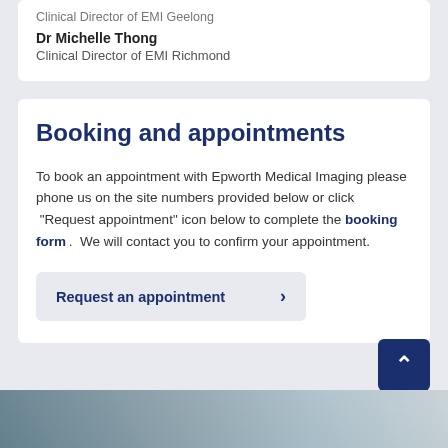Clinical Director of EMI Geelong
Dr Michelle Thong
Clinical Director of EMI Richmond
Booking and appointments
To book an appointment with Epworth Medical Imaging please phone us on the site numbers provided below or click “Request appointment” icon below to complete the booking form. We will contact you to confirm your appointment.
Request an appointment >
[Figure (photo): Partial outdoor photo visible at bottom of page, showing trees against sky]